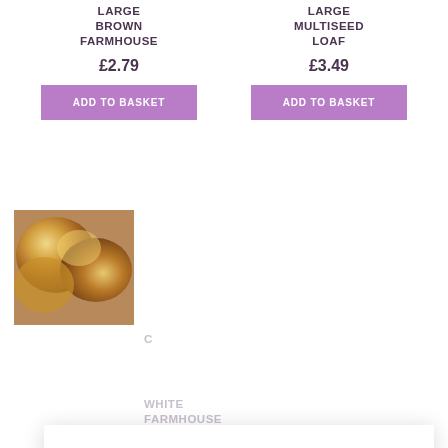LARGE BROWN FARMHOUSE
LARGE MULTISEED LOAF
£2.79
£3.49
ADD TO BASKET
ADD TO BASKET
[Figure (photo): Close-up photo of baked bread loaves]
WHITE FARMHOUSE
£2.79
We use cookies on our website to give you the most relevant experience by remembering your preferences and repeat visits. By clicking "Accept", you consent to the use of ALL the cookies. However you may visit Cookie Settings to provide a controlled consent.
Cookie settings
ACCEPT
ADD TO BASKET